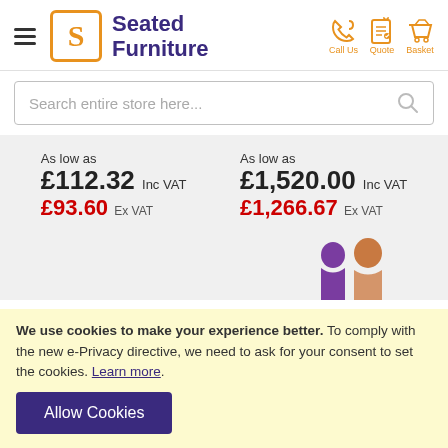[Figure (logo): Seated Furniture logo with orange S in a square box and dark purple brand name]
Search entire store here...
As low as £112.32 Inc VAT £93.60 Ex VAT
As low as £1,520.00 Inc VAT £1,266.67 Ex VAT
We use cookies to make your experience better. To comply with the new e-Privacy directive, we need to ask for your consent to set the cookies. Learn more.
Allow Cookies